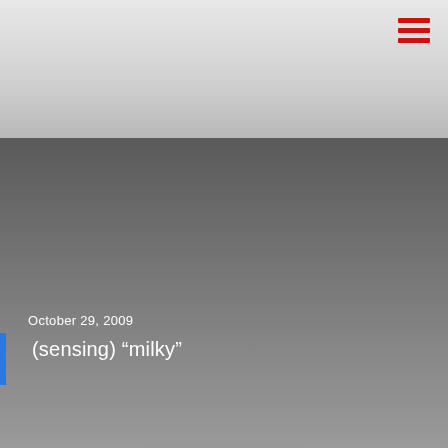October 29, 2009
(sensing) “milky”
[Figure (photo): Image placeholder icon showing a landscape/photo placeholder with a circle (sun) and mountain shape inside a rounded rectangle]